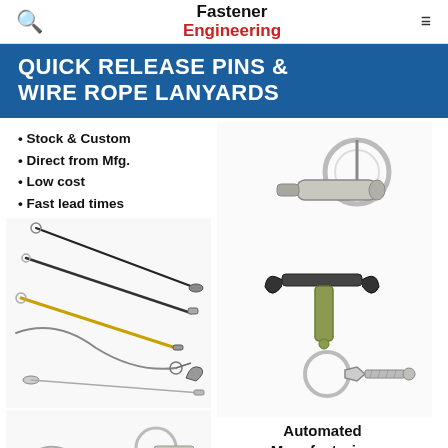Fastener Engineering
QUICK RELEASE PINS & WIRE ROPE LANYARDS
Stock & Custom
Direct from Mfg.
Low cost
Fast lead times
[Figure (photo): Various wire rope lanyards and quick release pins product photos]
Automated Manufacturing delivers on Quality, Cost